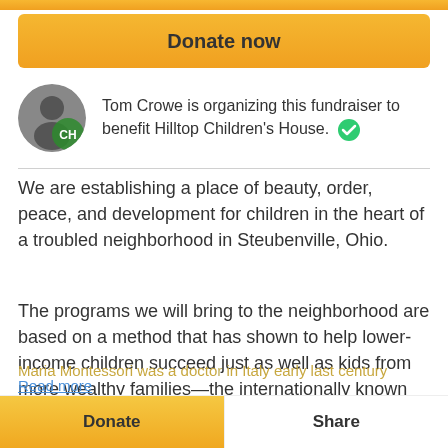[Figure (other): Orange top bar stripe]
[Figure (other): Orange 'Donate now' button]
Tom Crowe is organizing this fundraiser to benefit Hilltop Children's House.
We are establishing a place of beauty, order, peace, and development for children in the heart of a troubled neighborhood in Steubenville, Ohio.
The programs we will bring to the neighborhood are based on a method that has shown to help lower-income children succeed just as well as kids from more wealthy families—the internationally known Montessori method.
Maria Montessori was a docto... in Italy early last century
Read more
[Figure (other): Bottom bar with Donate and Share buttons]